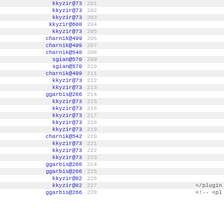| author | line | content |
| --- | --- | --- |
| kkyzir@73 | 201 |  |
| kkyzir@73 | 202 |  |
| kkyzir@73 | 203 |  |
| kkyzir@608 | 204 |  |
| kkyzir@73 | 205 |  |
| charnik@499 | 206 |  |
| charnik@499 | 207 |  |
| charnik@548 | 208 |  |
| sgian@570 | 209 |  |
| sgian@570 | 210 |  |
| charnik@499 | 211 |  |
| kkyzir@73 | 212 |  |
| kkyzir@73 | 213 |  |
| ggarbis@266 | 214 |  |
| kkyzir@73 | 215 |  |
| kkyzir@73 | 216 |  |
| kkyzir@73 | 217 |  |
| kkyzir@73 | 218 |  |
| kkyzir@73 | 219 |  |
| charnik@542 | 220 |  |
| kkyzir@73 | 221 |  |
| kkyzir@73 | 222 |  |
| kkyzir@73 | 223 |  |
| ggarbis@266 | 224 |  |
| ggarbis@266 | 225 |  |
| kkyzir@82 | 226 |  |
| kkyzir@82 | 227 | </plugin |
| ggarbis@266 | 228 | <!-- <pl |